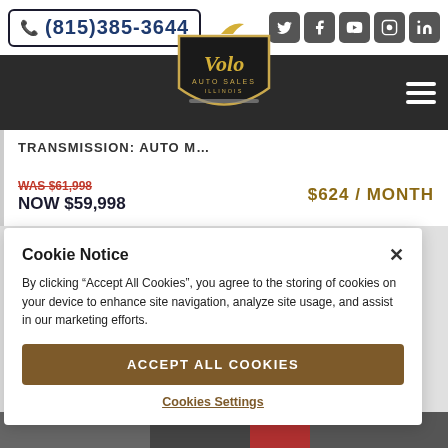(815)385-3644
[Figure (logo): Volo Auto Sales Illinois logo — gold script lettering on a dark shield badge]
TRANSMISSION: AUTO M...
WAS $61,998
NOW $59,998
$624 / MONTH
Cookie Notice
By clicking “Accept All Cookies”, you agree to the storing of cookies on your device to enhance site navigation, analyze site usage, and assist in our marketing efforts.
Accept All Cookies
Cookies Settings